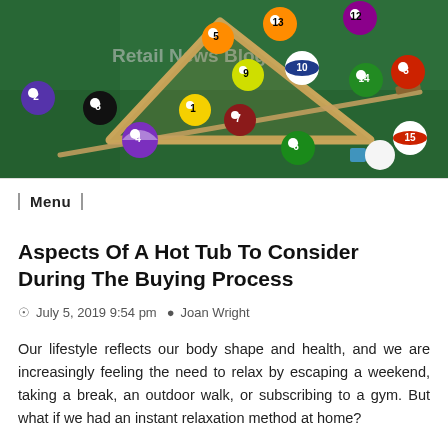[Figure (photo): Hero image of billiard balls arranged in a triangle rack on a green pool table, with a wooden cue stick. Balls numbered 2-15 in various colors. 'Retail News Blog' watermark visible in upper portion.]
Menu
Aspects Of A Hot Tub To Consider During The Buying Process
© July 5, 2019 9:54 pm  Joan Wright
Our lifestyle reflects our body shape and health, and we are increasingly feeling the need to relax by escaping a weekend, taking a break, an outdoor walk, or subscribing to a gym. But what if we had an instant relaxation method at home?